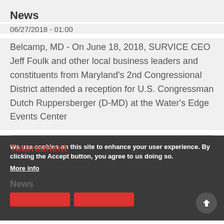News
06/27/2018 - 01:00
Belcamp, MD - On June 18, 2018, SURVICE CEO Jeff Foulk and other local business leaders and constituents from Maryland’s 2nd Congressional District attended a reception for U.S. Congressman Dutch Ruppersberger (D-MD) at the Water’s Edge Events Center
We use cookies on this site to enhance your user experience. By clicking the Accept button, you agree to us doing so.
More info
Tournament
News